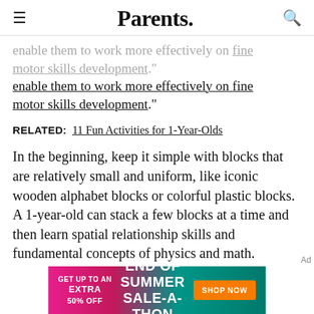Parents.
enable them to work more effectively on fine motor skills development."
RELATED:  11 Fun Activities for 1-Year-Olds
In the beginning, keep it simple with blocks that are relatively small and uniform, like iconic wooden alphabet blocks or colorful plastic blocks. A 1-year-old can stack a few blocks at a time and then learn spatial relationship skills and fundamental concepts of physics and math.
[Figure (infographic): Advertisement banner: GET UP TO AN EXTRA 50% OFF — END OF SUMMER SALE-A-THON — SHOP NOW button, pink/teal gradient background]